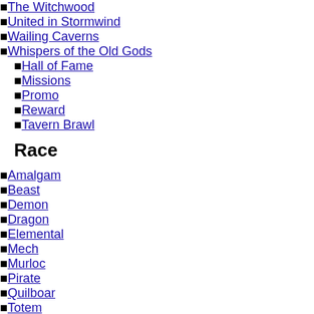The Witchwood
United in Stormwind
Wailing Caverns
Whispers of the Old Gods
Hall of Fame
Missions
Promo
Reward
Tavern Brawl
Race
Amalgam
Beast
Demon
Dragon
Elemental
Mech
Murloc
Pirate
Quilboar
Totem
Decks
Deck Search
Search